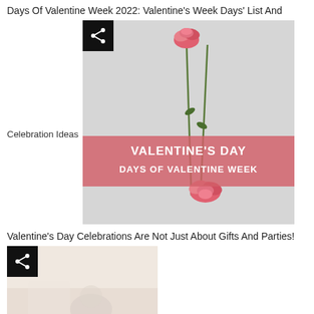Days Of Valentine Week 2022: Valentine's Week Days' List And
Celebration Ideas
[Figure (photo): Two pink/red carnation flowers on a light grey background with a pink semi-transparent banner overlay reading VALENTINE'S DAY DAYS OF VALENTINE WEEK, and a share icon button in the top-left corner]
Valentine's Day Celebrations Are Not Just About Gifts And Parties!
[Figure (photo): A soft warm-toned photo (cream/beige tones) with a share icon button in the top-left corner, partially visible, appears to show a person in a light setting]